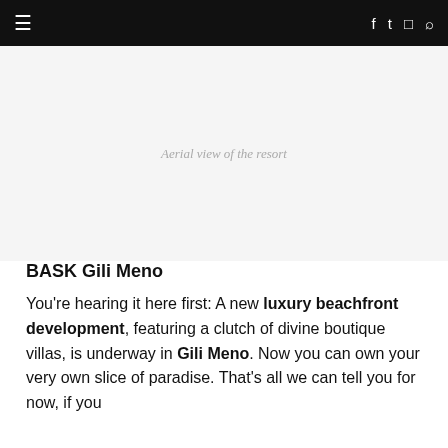≡  f  twitter  instagram  search
[Figure (photo): Aerial view of the resort — placeholder image area with italic caption text overlaid]
Aerial view of the resort
BASK Gili Meno
You're hearing it here first: A new luxury beachfront development, featuring a clutch of divine boutique villas, is underway in Gili Meno. Now you can own your very own slice of paradise. That's all we can tell you for now, if you